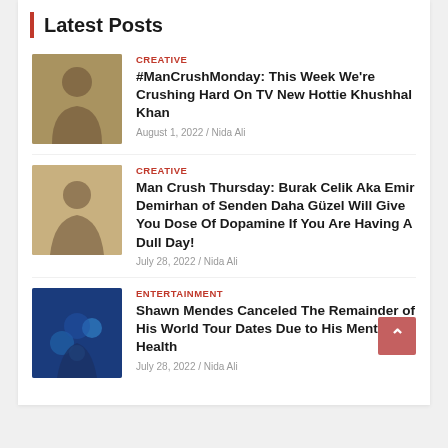Latest Posts
CREATIVE | #ManCrushMonday: This Week We're Crushing Hard On TV New Hottie Khushhal Khan | August 1, 2022 / Nida Ali
CREATIVE | Man Crush Thursday: Burak Celik Aka Emir Demirhan of Senden Daha Güzel Will Give You Dose Of Dopamine If You Are Having A Dull Day! | July 28, 2022 / Nida Ali
ENTERTAINMENT | Shawn Mendes Canceled The Remainder of His World Tour Dates Due to His Mental Health | July 28, 2022 / Nida Ali